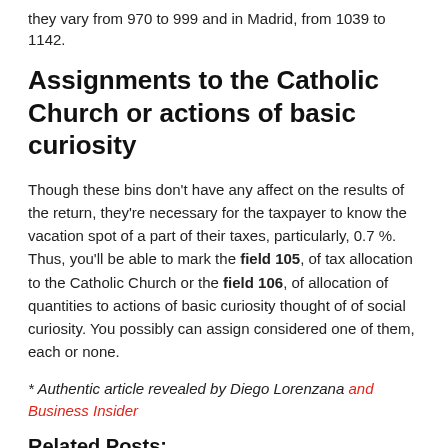they vary from 970 to 999 and in Madrid, from 1039 to 1142.
Assignments to the Catholic Church or actions of basic curiosity
Though these bins don't have any affect on the results of the return, they're necessary for the taxpayer to know the vacation spot of a part of their taxes, particularly, 0.7 %. Thus, you'll be able to mark the field 105, of tax allocation to the Catholic Church or the field 106, of allocation of quantities to actions of basic curiosity thought of of social curiosity. You possibly can assign considered one of them, each or none.
* Authentic article revealed by Diego Lorenzana and Business Insider
Related Posts:
The 11 most common mistakes when presenting the